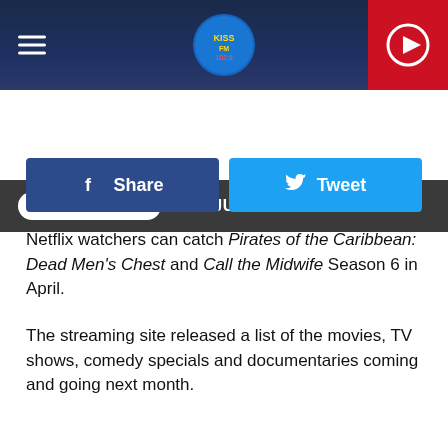KISSFM 102.9 — THE JUBAL SHOW
Netflix watchers can catch Pirates of the Caribbean: Dead Men's Chest and Call the Midwife Season 6 in April.
The streaming site released a list of the movies, TV shows, comedy specials and documentaries coming and going next month.